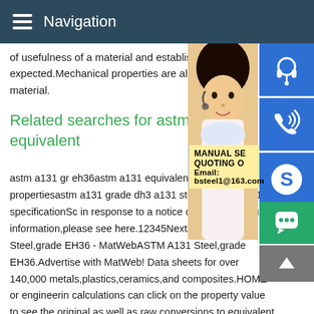Navigation
of usefulness of a material and establish the expected. Mechanical properties are also used to identify material.
Related searches for astm a131 equivalent
astm a131 gr eh36astm a131 equivalentastm a131 eh36 steel propertiesastm a131 grade dh36astm a131 steel plateastm a131 specificationSome results have been removed in response to a notice of local law requirement. For more information,please see here.12345NextASTM A131 Steel,grade EH36 - MatWebASTM A131 Steel,grade EH36.Advertise with MatWeb! Data sheets for over 140,000 metals,plastics,ceramics,and composites.HOME or engineering calculations can click on the property value to see the original as well as raw conversions to equivalent units.Related searches
[Figure (photo): Customer service representative (woman with headset) photo with blue icon buttons for headset/phone/Skype on right side, and a promotional box with text MANUAL SE... QUOTING O... Email: bsteel1@163.com]